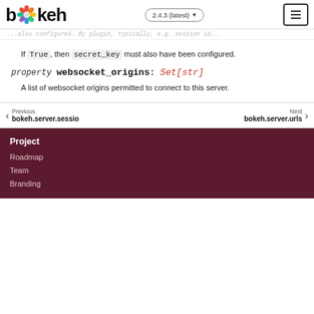bokeh 2.4.3 (latest)
...also configured. By plugin, typically, e.g. session id...
If True, then secret_key must also have been configured.
property websocket_origins : Set[str]
A list of websocket origins permitted to connect to this server.
Previous bokeh.server.sessio   Next bokeh.server.urls
Project
Roadmap
Team
Branding